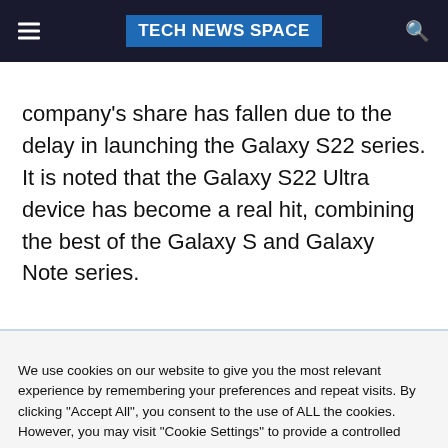TECH NEWS SPACE
company's share has fallen due to the delay in launching the Galaxy S22 series. It is noted that the Galaxy S22 Ultra device has become a real hit, combining the best of the Galaxy S and Galaxy Note series.
We use cookies on our website to give you the most relevant experience by remembering your preferences and repeat visits. By clicking "Accept All", you consent to the use of ALL the cookies. However, you may visit "Cookie Settings" to provide a controlled consent. Read More
Cookie Settings | Accept All